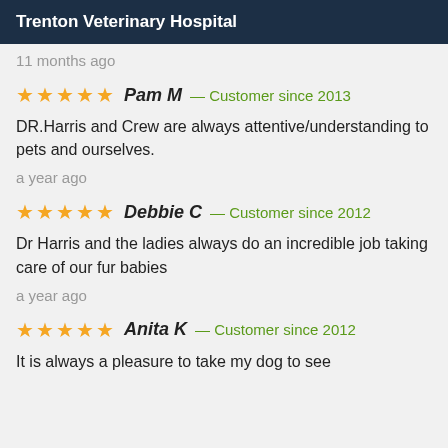Trenton Veterinary Hospital
11 months ago
★★★★★ Pam M — Customer since 2013
DR.Harris and Crew are always attentive/understanding to pets and ourselves.
a year ago
★★★★★ Debbie C — Customer since 2012
Dr Harris and the ladies always do an incredible job taking care of our fur babies
a year ago
★★★★★ Anita K — Customer since 2012
It is always a pleasure to take my dog to see